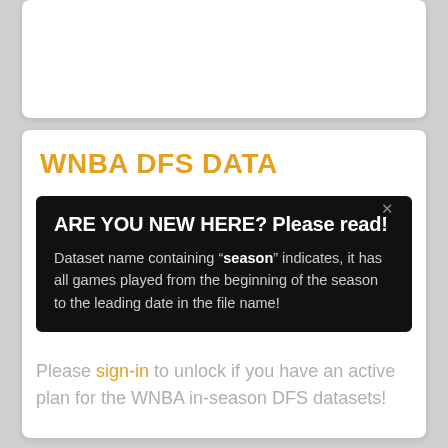WNBA DFS DATA
ARE YOU NEW HERE? Please read!
Dataset name containing “season” indicates, it has all games played from the beginning of the season to the leading date in the file name!
Please sign-in to unlock if you have an active plan for the WNBA in-season DFS datasets!